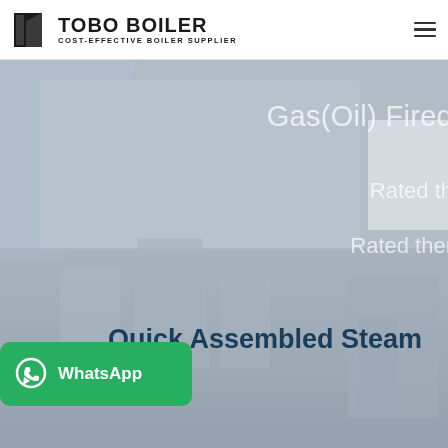[Figure (logo): TOBO BOILER logo with dark geometric icon and text 'TOBO BOILER / COST-EFFECTIVE BOILER SUPPLIER']
[Figure (photo): Hero banner with industrial boiler equipment photograph overlaid with gray/blue tones. Shows partial text 'Gas(Oil) Fired', 'Rated th...', 'Rated ther...' on right side. Lower section shows 'Quick Assembled Steam Boiler' heading in dark blue. WhatsApp contact button overlay on lower left.]